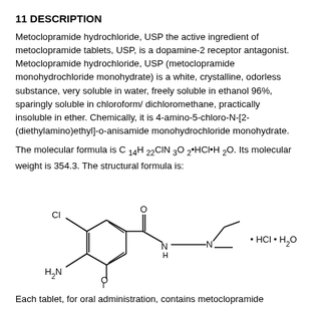11 DESCRIPTION
Metoclopramide hydrochloride, USP the active ingredient of metoclopramide tablets, USP, is a dopamine-2 receptor antagonist. Metoclopramide hydrochloride, USP (metoclopramide monohydrochloride monohydrate) is a white, crystalline, odorless substance, very soluble in water, freely soluble in ethanol 96%, sparingly soluble in chloroform/dichloromethane, practically insoluble in ether. Chemically, it is 4-amino-5-chloro-N-[2-(diethylamino)ethyl]-o-anisamide monohydrochloride monohydrate.
The molecular formula is C14H22ClN3O2•HCl•H2O. Its molecular weight is 354.3. The structural formula is:
[Figure (engineering-diagram): Structural chemical formula of metoclopramide hydrochloride monohydrate showing a benzene ring with Cl and H2N substituents, a methoxy group, an amide linkage (C=O-NH), an ethylene chain, and a diethylamino group (N with two ethyl branches), followed by bullet HCl bullet H2O]
Each tablet, for oral administration, contains metoclopramide